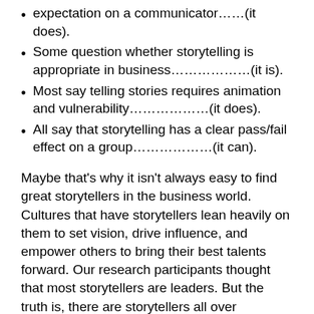expectation on a communicator……(it does).
Some question whether storytelling is appropriate in business………………(it is).
Most say telling stories requires animation and vulnerability………………(it does).
All say that storytelling has a clear pass/fail effect on a group………………(it can).
Maybe that's why it isn't always easy to find great storytellers in the business world. Cultures that have storytellers lean heavily on them to set vision, drive influence, and empower others to bring their best talents forward. Our research participants thought that most storytellers are leaders. But the truth is, there are storytellers all over organizations. They just aren't good at it yet. But they can be.
Storytelling is the ultimate human resource. The art of…